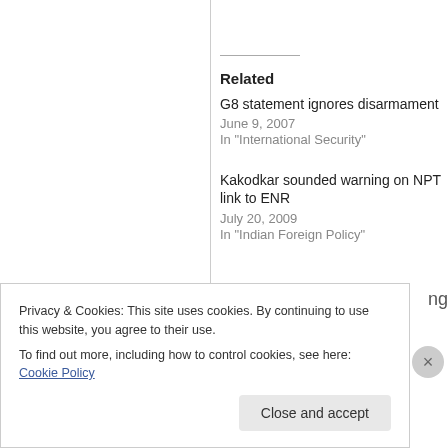Related
G8 statement ignores disarmament
June 9, 2007
In "International Security"
Kakodkar sounded warning on NPT link to ENR
July 20, 2009
In "Indian Foreign Policy"
Privacy & Cookies: This site uses cookies. By continuing to use this website, you agree to their use.
To find out more, including how to control cookies, see here: Cookie Policy
Close and accept